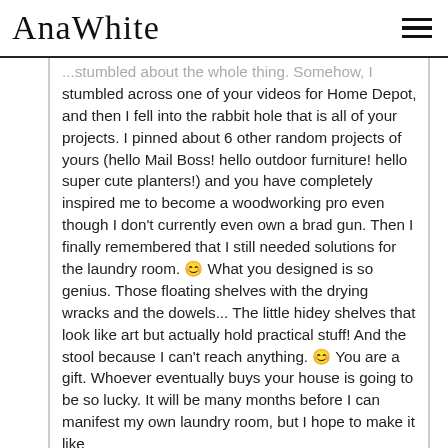AnaWhite
...stumbled across one of your videos for Home Depot, and then I fell into the rabbit hole that is all of your projects. I pinned about 6 other random projects of yours (hello Mail Boss! hello outdoor furniture! hello super cute planters!) and you have completely inspired me to become a woodworking pro even though I don't currently even own a brad gun. Then I finally remembered that I still needed solutions for the laundry room. 😊 What you designed is so genius. Those floating shelves with the drying wracks and the dowels... The little hidey shelves that look like art but actually hold practical stuff! And the stool because I can't reach anything. 🙂 You are a gift. Whoever eventually buys your house is going to be so lucky. It will be many months before I can manifest my own laundry room, but I hope to make it like yours in many ways. And by the way, also in the laundry room, I would love to hide (A) a hot water